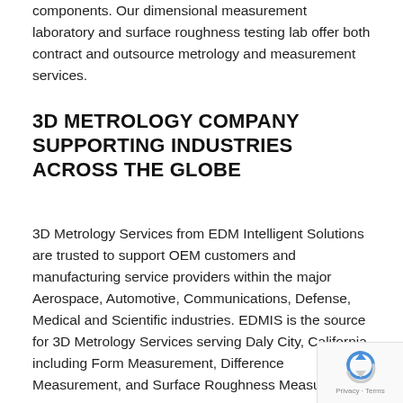components. Our dimensional measurement laboratory and surface roughness testing lab offer both contract and outsource metrology and measurement services.
3D METROLOGY COMPANY SUPPORTING INDUSTRIES ACROSS THE GLOBE
3D Metrology Services from EDM Intelligent Solutions are trusted to support OEM customers and manufacturing service providers within the major Aerospace, Automotive, Communications, Defense, Medical and Scientific industries. EDMIS is the source for 3D Metrology Services serving Daly City, California including Form Measurement, Difference Measurement, and Surface Roughness Measurement